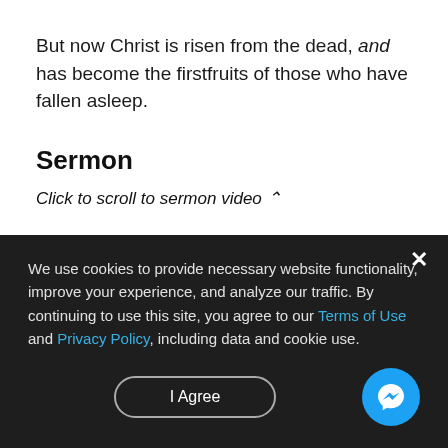But now Christ is risen from the dead, and has become the firstfruits of those who have fallen asleep.
Sermon
Click to scroll to sermon video ⌃
Song of Response
We use cookies to provide necessary website functionality, improve your experience, and analyze our traffic. By continuing to use this site, you agree to our Terms of Use and Privacy Policy, including data and cookie use.
I Agree